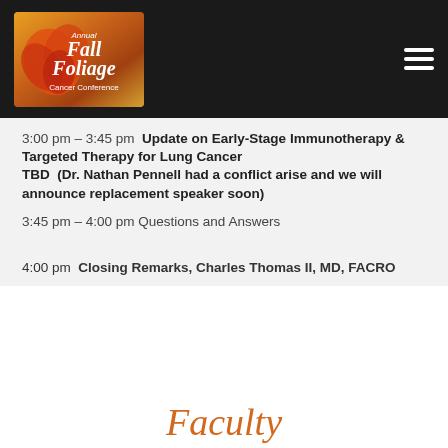[Figure (logo): Annual Fall Foliage Cancer Conference logo with autumn leaf graphic on dark header bar]
3:00 pm – 3:45 pm  Update on Early-Stage Immunotherapy & Targeted Therapy for Lung Cancer
TBD  (Dr. Nathan Pennell had a conflict arise and we will announce replacement speaker soon)
3:45 pm – 4:00 pm  Questions and Answers
4:00 pm  Closing Remarks, Charles Thomas II, MD, FACRO
Faculty